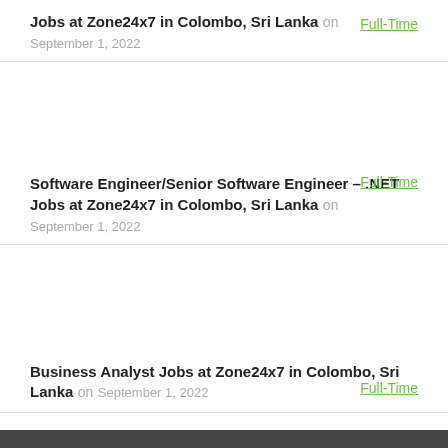Jobs at Zone24x7 in Colombo, Sri Lanka on September 1, 2022 Full-Time
Software Engineer/Senior Software Engineer – .NET Jobs at Zone24x7 in Colombo, Sri Lanka on September 1, 2022 Full-Time
Business Analyst Jobs at Zone24x7 in Colombo, Sri Lanka on September 1, 2022 Full-Time
Senior Engineer/Engineer (C/C++) Jobs at Zone24x7 in Colombo, Sri Lanka on September 1, 2022 Full-Time